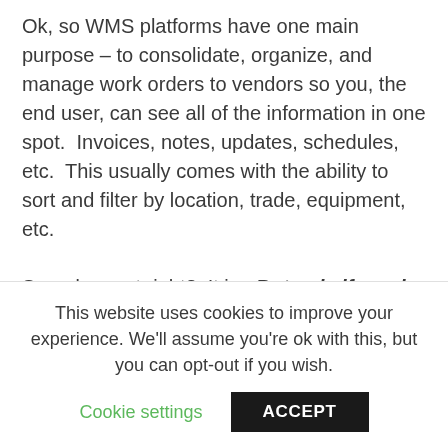Ok, so WMS platforms have one main purpose – to consolidate, organize, and manage work orders to vendors so you, the end user, can see all of the information in one spot.  Invoices, notes, updates, schedules, etc.  This usually comes with the ability to sort and filter by location, trade, equipment, etc.

Sounds great right?  It is.  But only if used correctly.  You see, the other side of the coin bears the requirements and procedures that a service vendor needs to
This website uses cookies to improve your experience. We'll assume you're ok with this, but you can opt-out if you wish.
Cookie settings
ACCEPT